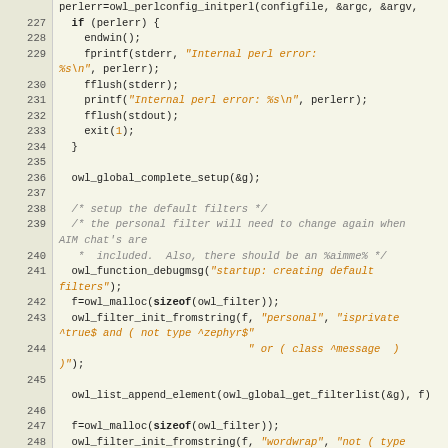[Figure (screenshot): Source code listing in C showing lines 226-251, with line numbers on the left gutter and syntax highlighting (strings in orange italic, keywords bold, comments in gray italic). Code shows owl perl configuration, error handling, filter setup including owl_global_complete_setup, owl_function_debugmsg, owl_malloc, owl_filter_init_fromstring, and owl_list_append_element calls.]